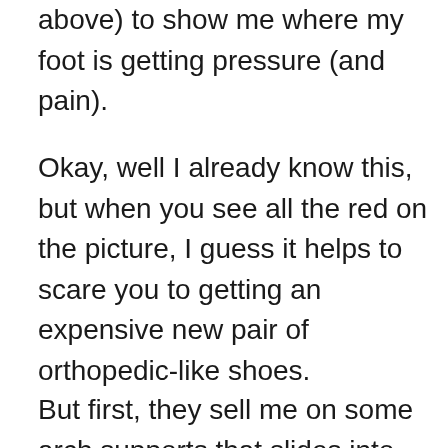above) to show me where my foot is getting pressure (and pain).
Okay, well I already know this, but when you see all the red on the picture, I guess it helps to scare you to getting an expensive new pair of orthopedic-like shoes.
But first, they sell me on some arch supports that slides into the shoe